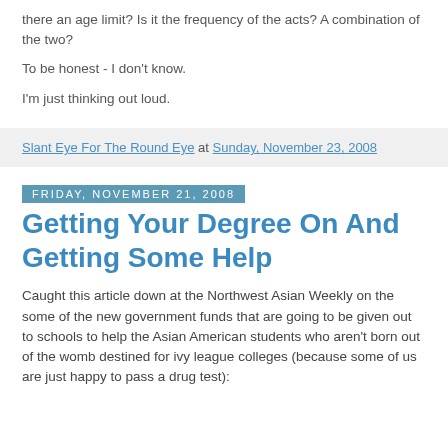there an age limit? Is it the frequency of the acts? A combination of the two?
To be honest - I don't know.
I'm just thinking out loud.
Slant Eye For The Round Eye at Sunday, November 23, 2008
Friday, November 21, 2008
Getting Your Degree On And Getting Some Help
Caught this article down at the Northwest Asian Weekly on the some of the new government funds that are going to be given out to schools to help the Asian American students who aren't born out of the womb destined for ivy league colleges (because some of us are just happy to pass a drug test):